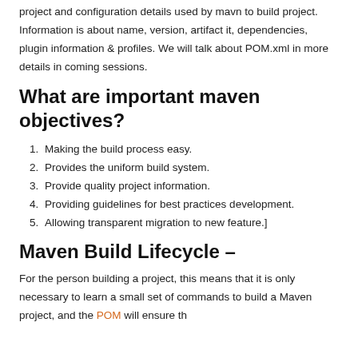project and configuration details used by mavn to build project. Information is about name, version, artifact it, dependencies, plugin information & profiles. We will talk about POM.xml in more details in coming sessions.
What are important maven objectives?
Making the build process easy.
Provides the uniform build system.
Provide quality project information.
Providing guidelines for best practices development.
Allowing transparent migration to new feature.]
Maven Build Lifecycle –
For the person building a project, this means that it is only necessary to learn a small set of commands to build a Maven project, and the POM will ensure they get the results they desired.